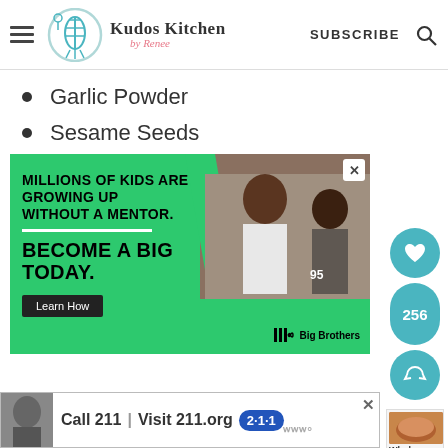Kudos Kitchen by Renee — SUBSCRIBE
Garlic Powder
Sesame Seeds
[Figure (screenshot): Advertisement: Big Brothers Big Sisters — Millions of kids are growing up without a mentor. Become a Big Today. Learn How button.]
[Figure (screenshot): Bottom banner ad: Call 211 | Visit 211.org with 2-1-1 badge logo]